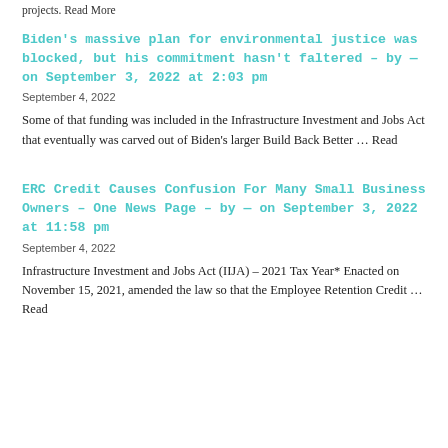projects. Read More
Biden's massive plan for environmental justice was blocked, but his commitment hasn't faltered – by — on September 3, 2022 at 2:03 pm
September 4, 2022
Some of that funding was included in the Infrastructure Investment and Jobs Act that eventually was carved out of Biden's larger Build Back Better … Read
ERC Credit Causes Confusion For Many Small Business Owners – One News Page – by — on September 3, 2022 at 11:58 pm
September 4, 2022
Infrastructure Investment and Jobs Act (IIJA) – 2021 Tax Year* Enacted on November 15, 2021, amended the law so that the Employee Retention Credit … Read